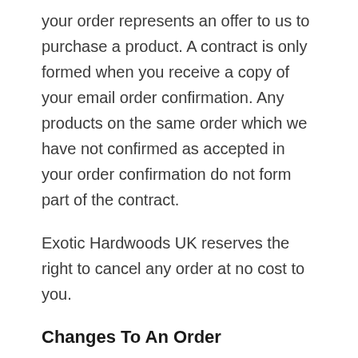your order represents an offer to us to purchase a product. A contract is only formed when you receive a copy of your email order confirmation. Any products on the same order which we have not confirmed as accepted in your order confirmation do not form part of the contract.
Exotic Hardwoods UK reserves the right to cancel any order at no cost to you.
Changes To An Order
Once an order has been confirmed changes can only be made by contacting customer service through the Contact Us page of the website.